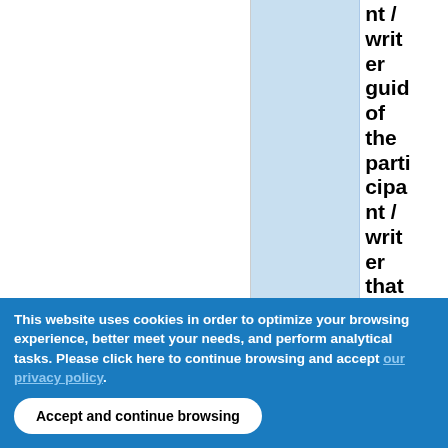|  |  | nt / writer guid of the participant / writer that sent the request) The "reading application" will |
This website uses cookies in order to optimize your browsing experience, better meet your needs, and perform analytical tasks. Please click here to continue browsing and accept . Accept and continue browsing